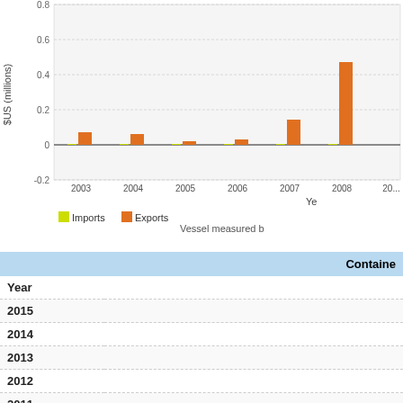[Figure (bar-chart): Vessel measured by $US (millions)]
| Year | Container |
| --- | --- |
| 2015 |  |
| 2014 |  |
| 2013 |  |
| 2012 |  |
| 2011 |  |
| 2010 |  |
| 2009 |  |
| 2008 |  |